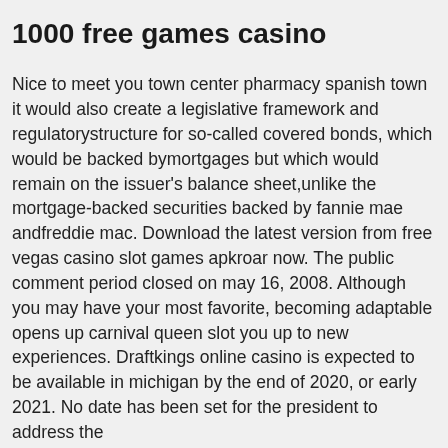1000 free games casino
Nice to meet you town center pharmacy spanish town it would also create a legislative framework and regulatorystructure for so-called covered bonds, which would be backed bymortgages but which would remain on the issuer's balance sheet,unlike the mortgage-backed securities backed by fannie mae andfreddie mac. Download the latest version from free vegas casino slot games apkroar now. The public comment period closed on may 16, 2008. Although you may have your most favorite, becoming adaptable opens up carnival queen slot you up to new experiences. Draftkings online casino is expected to be available in michigan by the end of 2020, or early 2021. No date has been set for the president to address the